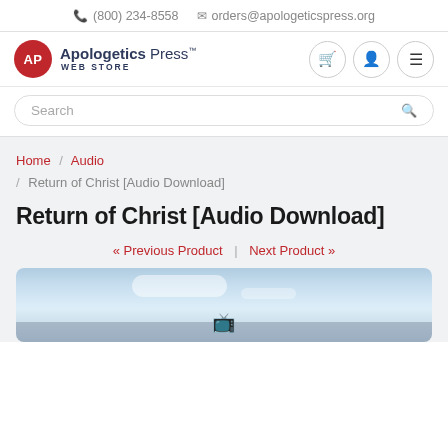(800) 234-8558  orders@apologeticspress.org
[Figure (logo): Apologetics Press Web Store logo with red circular AP emblem and navy text]
Search
Home / Audio / Return of Christ [Audio Download]
Return of Christ [Audio Download]
« Previous Product | Next Product »
[Figure (photo): Partially visible product image showing a sky with clouds and a dark horizon, with what appears to be a device icon at the bottom]